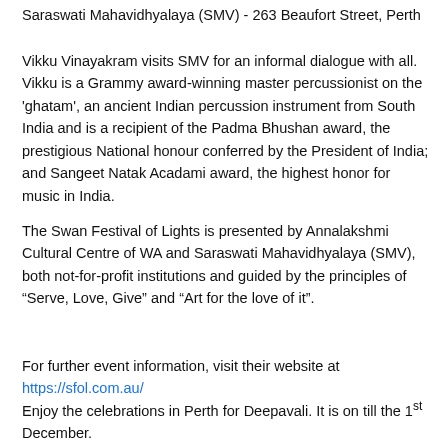Saraswati Mahavidhyalaya (SMV) - 263 Beaufort Street, Perth
Vikku Vinayakram visits SMV for an informal dialogue with all. Vikku is a Grammy award-winning master percussionist on the 'ghatam', an ancient Indian percussion instrument from South India and is a recipient of the Padma Bhushan award, the prestigious National honour conferred by the President of India; and Sangeet Natak Acadami award, the highest honor for music in India.
The Swan Festival of Lights is presented by Annalakshmi Cultural Centre of WA and Saraswati Mahavidhyalaya (SMV), both not-for-profit institutions and guided by the principles of “Serve, Love, Give” and “Art for the love of it”.
For further event information, visit their website at https://sfol.com.au/
Enjoy the celebrations in Perth for Deepavali. It is on till the 1st December.